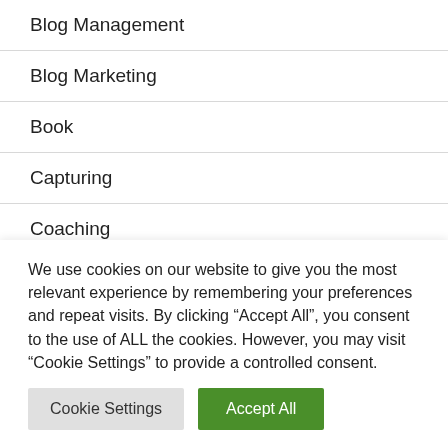Blog Management
Blog Marketing
Book
Capturing
Coaching
Community
Corporate Culture
We use cookies on our website to give you the most relevant experience by remembering your preferences and repeat visits. By clicking “Accept All”, you consent to the use of ALL the cookies. However, you may visit “Cookie Settings” to provide a controlled consent.
Cookie Settings | Accept All